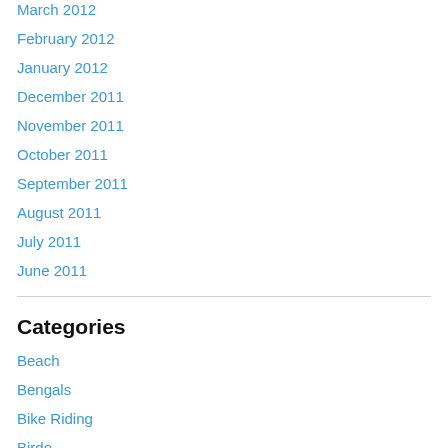March 2012
February 2012
January 2012
December 2011
November 2011
October 2011
September 2011
August 2011
July 2011
June 2011
Categories
Beach
Bengals
Bike Riding
Birdo
Boy Scouts
Camping